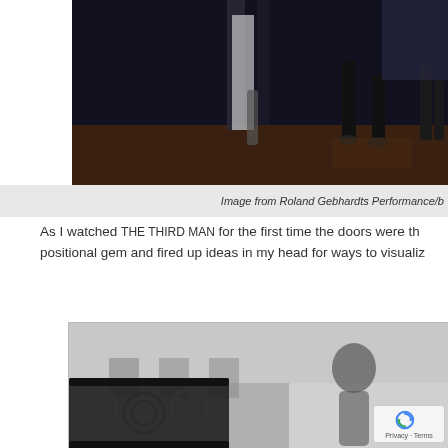[Figure (photo): Dark performance/dance scene with figures, legs visible walking or dancing on a stage floor, dark background with some vertical elements]
Image from Roland Gebhardts Performance/b
As I watched THE THIRD MAN for the first time the doors were th positional gem and fired up ideas in my head for ways to visualiz
[Figure (photo): Black and white photograph showing a silhouette of a person's shadow on a wall, with ornate wrought iron staircase railing in the foreground, architectural elements in background]